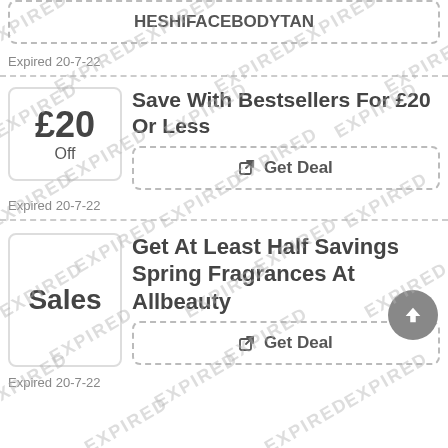HESHIFACEBODYTAN
Expired 20-7-22
Save With Bestsellers For £20 Or Less
Get Deal
Expired 20-7-22
Get At Least Half Savings Spring Fragrances At Allbeauty
Get Deal
Expired 20-7-22